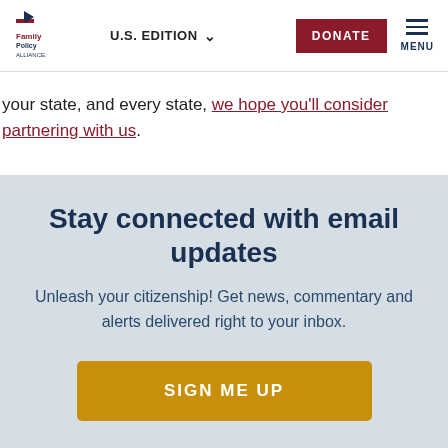Family Policy Alliance | U.S. EDITION | DONATE | MENU
your state, and every state, we hope you'll consider partnering with us.
Stay connected with email updates
Unleash your citizenship! Get news, commentary and alerts delivered right to your inbox.
SIGN ME UP